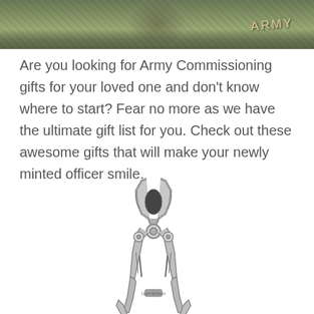[Figure (photo): Photograph of a person in U.S. Army camouflage uniform, with ARMY text visible on uniform, close-up view]
Are you looking for Army Commissioning gifts for your loved one and don't know where to start? Fear no more as we have the ultimate gift list for you. Check out these awesome gifts that will make your newly minted officer smile.
[Figure (photo): Product photo of a silver/stainless steel multi-tool pliers (similar to Leatherman style), shown open with pliers head at top, handles splayed at bottom]